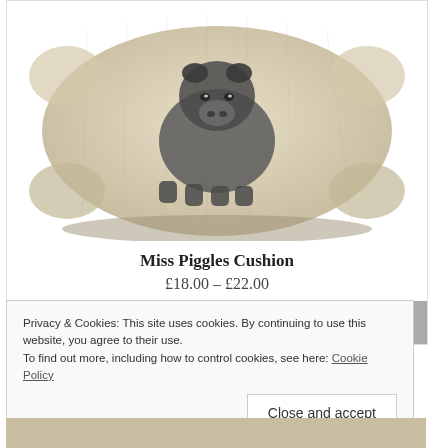[Figure (photo): A linen cushion with an illustration of a pig (Miss Piggles) printed on it, shown at an angle on a white background.]
Miss Piggles Cushion
£18.00 – £22.00
SELECT OPTIONS
Privacy & Cookies: This site uses cookies. By continuing to use this website, you agree to their use. To find out more, including how to control cookies, see here: Cookie Policy
Close and accept